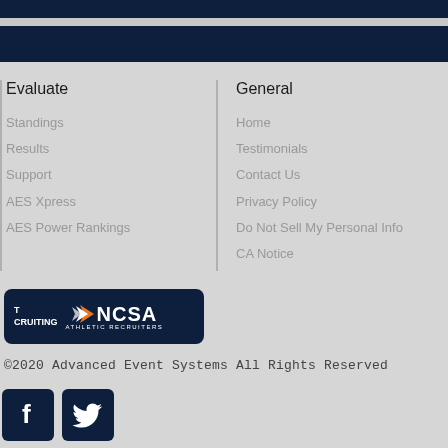Evaluate
Standings
Results
Support
AES Xpress
AES Power Rankings
General
Home
Testimonials
Contact Us
Privacy Policy
Do Not Sell My Personal Info
CA Notice
[Figure (logo): NCSA Athletic Recruiting banner logo on dark navy background]
©2020 Advanced Event Systems All Rights Reserved
[Figure (illustration): Social media icons: Facebook and Twitter on dark navy square backgrounds]